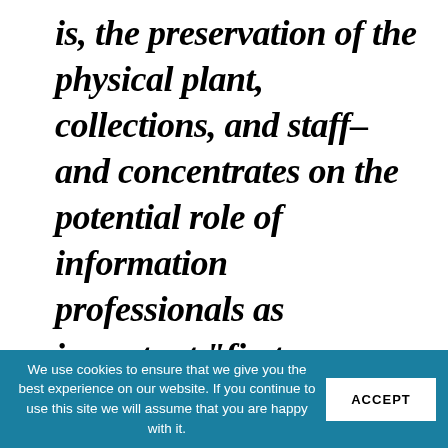is, the preservation of the physical plant, collections, and staff–and concentrates on the potential role of information professionals as important "first responders" during community–wide disasters.
We use cookies to ensure that we give you the best experience on our website. If you continue to use this site we will assume that you are happy with it. ACCEPT